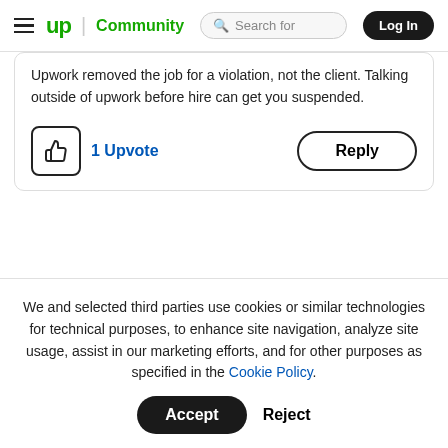up Community | Search for | Log In
Upwork removed the job for a violation, not the client. Talking outside of upwork before hire can get you suspended.
1 Upvote | Reply
We and selected third parties use cookies or similar technologies for technical purposes, to enhance site navigation, analyze site usage, assist in our marketing efforts, and for other purposes as specified in the Cookie Policy.
Accept | Reject